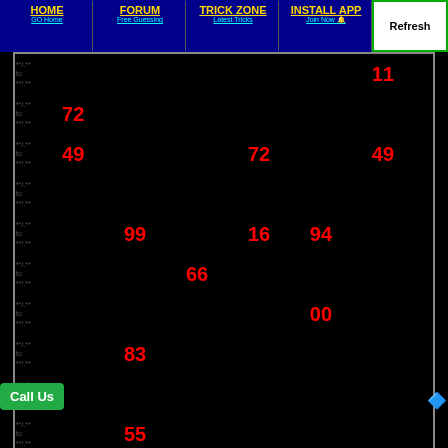HOME GO Home | FORUM Free Guessing | TRICK ZONE Latest Tricks | INSTALL APP Join Now | Refresh
| Date | Col1 | Col2 | Col3 | Col4 | Col5 | Col6 |
| --- | --- | --- | --- | --- | --- | --- |
| **/** to **/.** | ** | ** | 12 | 29 | 69 | 11 |
| **/** to **/** | 72 | 63 | 13 | 42 | 69 | 18 |
| **/** to **/** | 49 | 81 | 32 | 72 | 34 | 49 |
| **/** to **/** | 37 | 06 | 02 | 63 | 51 | 36 |
| **/** to **/** | 84 | 99 | 67 | 16 | 94 | 97 |
| **/** to **/** | 04 | 80 | 66 | 80 | 62 | 54 |
| **/** to **/** | 52 | 60 | ** | ** | 00 | 48 |
| **/** to **/** | 36 | 83 | 92 | 20 | 95 | 97 |
| **/** to **/** | ** | 86 | 15 | 73 | 65 | 01 |
| **/**, to **/** | 05 | 55 | 20 | 07 | 07 | 14 |